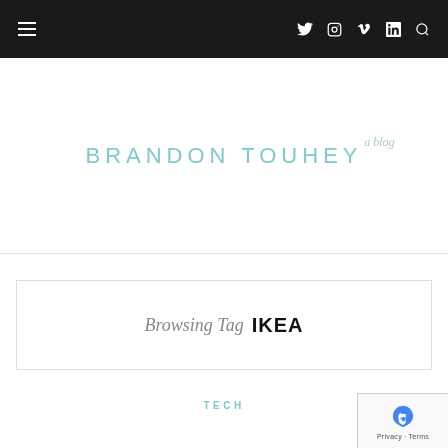Navigation bar with hamburger menu and social icons: Twitter, Instagram, Vimeo, LinkedIn, Search
BRANDON TOUHEY a blog
Browsing Tag IKEA
TECH
[Figure (other): reCAPTCHA privacy badge in bottom right corner showing Google reCAPTCHA logo with 'Privacy · Terms' text]